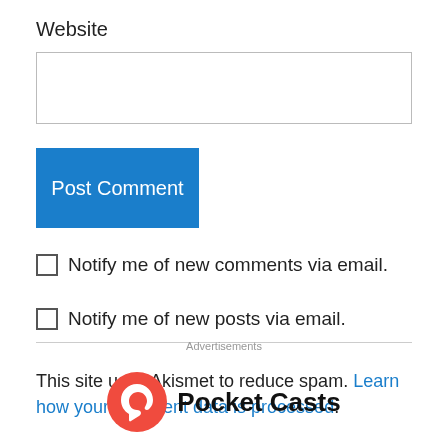Website
Post Comment
Notify me of new comments via email.
Notify me of new posts via email.
This site uses Akismet to reduce spam. Learn how your comment data is processed.
Advertisements
[Figure (logo): Pocket Casts logo with red circular icon and bold black text reading 'Pocket Casts']